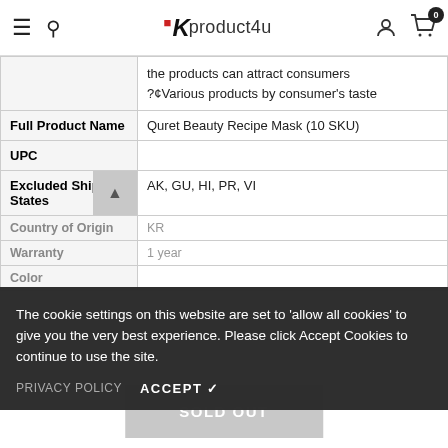Kproduct4u — navigation header with hamburger, search, logo, user icon, cart (0)
| Field | Value |
| --- | --- |
|  | the products can attract consumers
?¢Various products by consumer's taste |
| Full Product Name | Quret Beauty Recipe Mask (10 SKU) |
| UPC |  |
| Excluded Ship States | AK, GU, HI, PR, VI |
| Country of Origin | KR |
| Warranty | 1 year |
| Color |  |
The cookie settings on this website are set to 'allow all cookies' to give you the very best experience. Please click Accept Cookies to continue to use the site.
PRIVACY POLICY   ACCEPT ✔
SOLD OUT